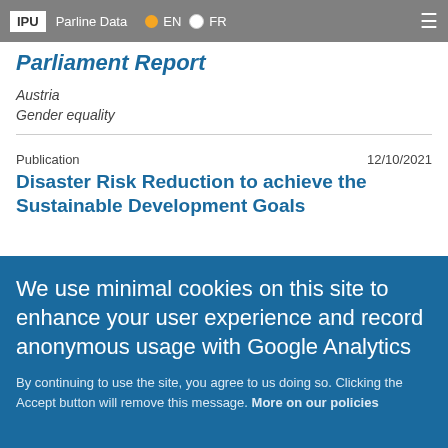IPU | Parline Data | EN | FR
Parliament Report
Austria
Gender equality
Publication    12/10/2021
Disaster Risk Reduction to achieve the Sustainable Development Goals
Sustainable development
Publication    27/07/2021
We use minimal cookies on this site to enhance your user experience and record anonymous usage with Google Analytics
By continuing to use the site, you agree to us doing so. Clicking the Accept button will remove this message. More on our policies